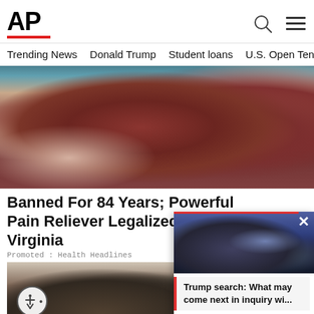AP
Trending News   Donald Trump   Student loans   U.S. Open Tenn
[Figure (photo): Close-up of a hand holding several dark red sugar-coated gummy candies]
Banned For 84 Years; Powerful Pain Reliever Legalized In Virginia
Promoted : Health Headlines
[Figure (photo): Photo of Sylvester Stallone and a woman at what appears to be a red carpet event]
[Figure (photo): Popup video thumbnail showing a man in a suit (Trump) near a car with greenery in background]
Trump search: What may come next in inquiry wi...